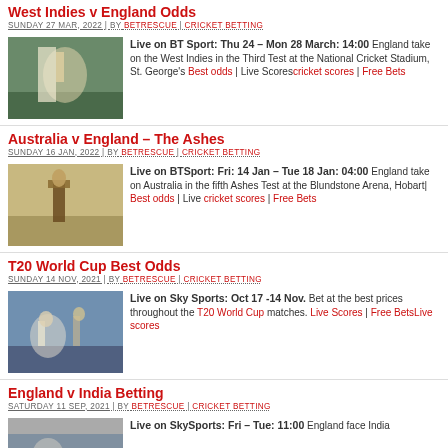West Indies v England Odds
SUNDAY 27 MAR, 2022 | BY BETRESCUE | CRICKET BETTING
Live on BT Sport: Thu 24 – Mon 28 March: 14:00 England take on the West Indies in the Third Test at the National Cricket Stadium, St. George's Best odds | Live Scorescricket scores | Free Bets
Australia v England – The Ashes
SUNDAY 16 JAN, 2022 | BY BETRESCUE | CRICKET BETTING
Live on BTSport: Fri: 14 Jan – Tue 18 Jan: 04:00 England take on Australia in the fifth Ashes Test at the Blundstone Arena, Hobart| Best odds | Live cricket scores | Free Bets
T20 World Cup Best Odds
SUNDAY 14 NOV, 2021 | BY BETRESCUE | CRICKET BETTING
Live on Sky Sports: Oct 17 -14 Nov. Bet at the best prices throughout the T20 World Cup matches. Live Scores | Free BetsLive scores
England v India Betting
SATURDAY 11 SEP, 2021 | BY BETRESCUE | CRICKET BETTING
Live on SkySports: Fri – Tue: 11:00 England face India